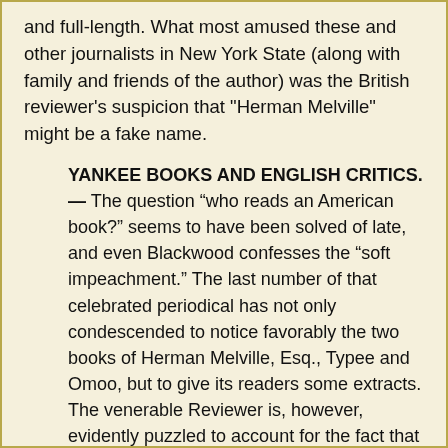and full-length. What most amused these and other journalists in New York State (along with family and friends of the author) was the British reviewer's suspicion that "Herman Melville" might be a fake name.
YANKEE BOOKS AND ENGLISH CRITICS.— The question “who reads an American book?” seems to have been solved of late, and even Blackwood confesses the “soft impeachment.” The last number of that celebrated periodical has not only condescended to notice favorably the two books of Herman Melville, Esq., Typee and Omoo, but to give its readers some extracts. The venerable Reviewer is, however, evidently puzzled to account for the fact that what it calls an “excellent” book, “quite first rate,” should have been written by an American, and that American a sailor. The first difficulty encountered in the matter, seems to be to understand what a sailor is. It is assumed off hand, that the hands in an American vessel are on a par with the miserable outcasts that the state of society in England exudes into the forecastles of English vessels. If